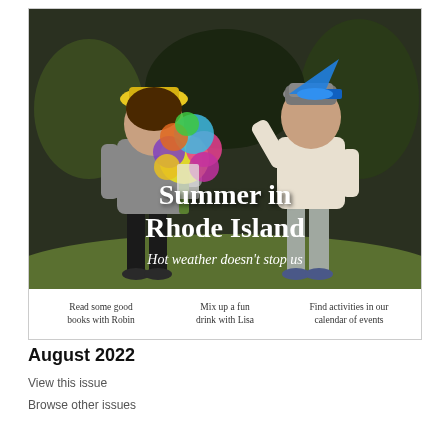[Figure (photo): Magazine cover image showing two children outdoors on grass. Left child in gray shirt holds a large colorful bouquet of flowers. Right child wears a gray hat and holds a blue cone/megaphone. Text overlay reads 'Summer in Rhode Island – Hot weather doesn't stop us'. Below the photo are three teasers: 'Read some good books with Robin', 'Mix up a fun drink with Lisa', 'Find activities in our calendar of events'.]
August 2022
View this issue
Browse other issues